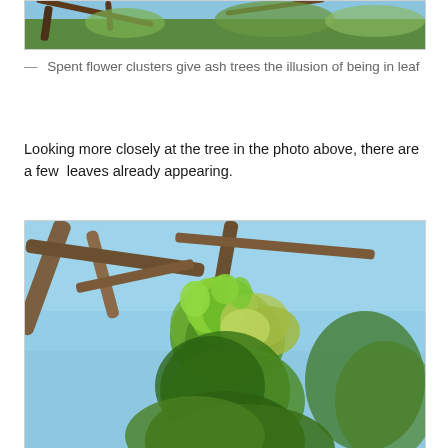[Figure (photo): Partial view of an ash tree with flower clusters and branches against a blue sky — top portion visible]
— Spent flower clusters give ash trees the illusion of being in leaf
Looking more closely at the tree in the photo above, there are a few  leaves already appearing.
[Figure (photo): Close-up photo of ash tree branches showing new green leaves appearing alongside flower clusters against a blue sky background]